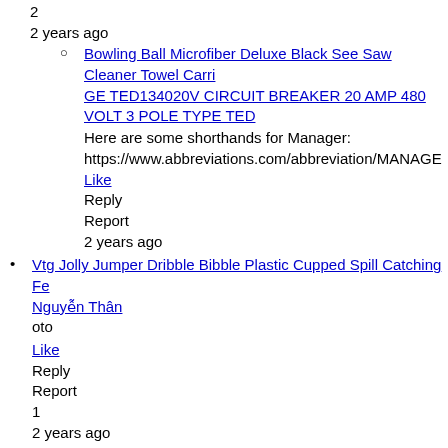2
2 years ago
Bowling Ball Microfiber Deluxe Black See Saw Cleaner Towel Carri
GE TED134020V CIRCUIT BREAKER 20 AMP 480 VOLT 3 POLE TYPE TED
Here are some shorthands for Manager:
https://www.abbreviations.com/abbreviation/MANAGE
Like
Reply
Report
2 years ago
Vtg Jolly Jumper Dribble Bibble Plastic Cupped Spill Catching Fe
Nguyễn Thân
oto
Like
Reply
Report
1
2 years ago
Fisher Price Vintage 1975 Adventure People #306 Daredevil Sports
Clear Crush Resitant Plastic Tubing 10' Roll 3/16" ID. x 1/4" OD.